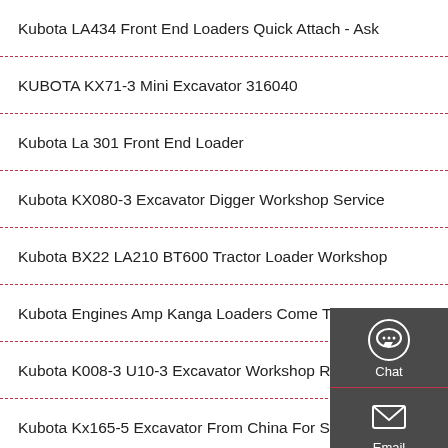Kubota LA434 Front End Loaders Quick Attach - Ask
KUBOTA KX71-3 Mini Excavator 316040
Kubota La 301 Front End Loader
Kubota KX080-3 Excavator Digger Workshop Service
Kubota BX22 LA210 BT600 Tractor Loader Workshop
Kubota Engines Amp Kanga Loaders Come Together
Kubota K008-3 U10-3 Excavator Workshop Repair
Kubota Kx165-5 Excavator From China For Sale At
Kubota U30-3 Mini Excavator Breaking Concrete Road
Kubota K008 Mini Excavator Owners Manual